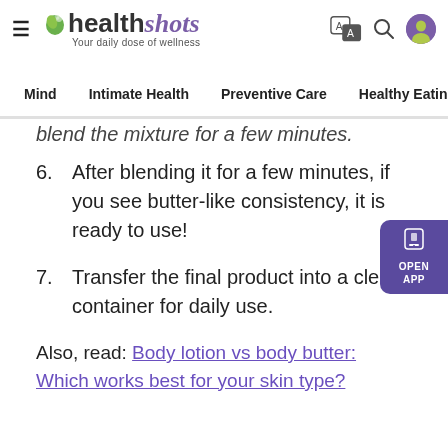healthshots - Your daily dose of wellness
Mind | Intimate Health | Preventive Care | Healthy Eating | F
blend the mixture for a few minutes.
6. After blending it for a few minutes, if you see butter-like consistency, it is ready to use!
7. Transfer the final product into a clean container for daily use.
Also, read: Body lotion vs body butter: Which works best for your skin type?